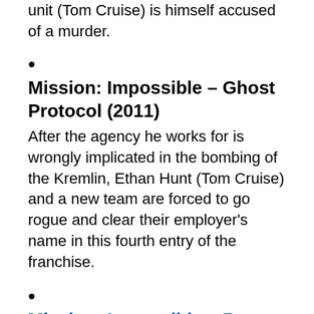unit (Tom Cruise) is himself accused of a murder.
Mission: Impossible – Ghost Protocol (2011)
After the agency he works for is wrongly implicated in the bombing of the Kremlin, Ethan Hunt (Tom Cruise) and a new team are forced to go rogue and clear their employer's name in this fourth entry of the franchise.
Mission: Impossible – Rogue Nation (2015)
With the organisation he works for disbanded and his country after him, Hunt (Cruise) races against time to prove the existence of